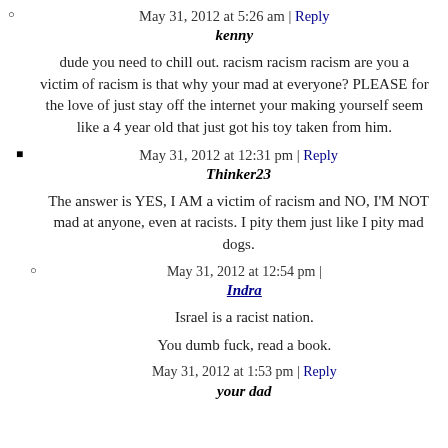May 31, 2012 at 5:26 am | Reply
kenny
dude you need to chill out. racism racism racism are you a victim of racism is that why your mad at everyone? PLEASE for the love of just stay off the internet your making yourself seem like a 4 year old that just got his toy taken from him.
May 31, 2012 at 12:31 pm | Reply
Thinker23
The answer is YES, I AM a victim of racism and NO, I'M NOT mad at anyone, even at racists. I pity them just like I pity mad dogs.
May 31, 2012 at 12:54 pm |
Indra
Israel is a racist nation.
You dumb fuck, read a book.
May 31, 2012 at 1:53 pm | Reply
your dad